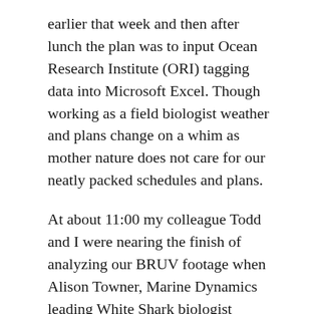earlier that week and then after lunch the plan was to input Ocean Research Institute (ORI) tagging data into Microsoft Excel. Though working as a field biologist weather and plans change on a whim as mother nature does not care for our neatly packed schedules and plans.
At about 11:00 my colleague Todd and I were nearing the finish of analyzing our BRUV footage when Alison Towner, Marine Dynamics leading White Shark biologist popped her head in the office just to say hello and see what we were up to. After showing her the footage we had of a